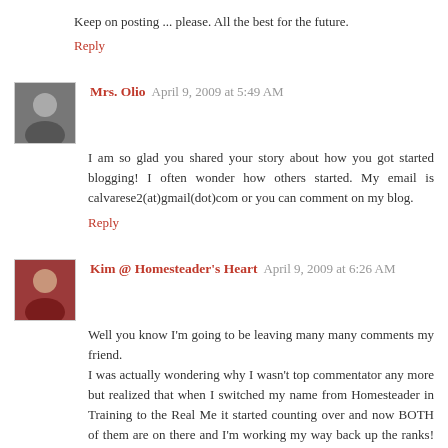Keep on posting ... please. All the best for the future.
Reply
Mrs. Olio  April 9, 2009 at 5:49 AM
I am so glad you shared your story about how you got started blogging! I often wonder how others started. My email is calvarese2(at)gmail(dot)com or you can comment on my blog.
Reply
Kim @ Homesteader's Heart  April 9, 2009 at 6:26 AM
Well you know I'm going to be leaving many many comments my friend.
I was actually wondering why I wasn't top commentator any more but realized that when I switched my name from Homesteader in Training to the Real Me it started counting over and now BOTH of them are on there and I'm working my way back up the ranks! LOL.